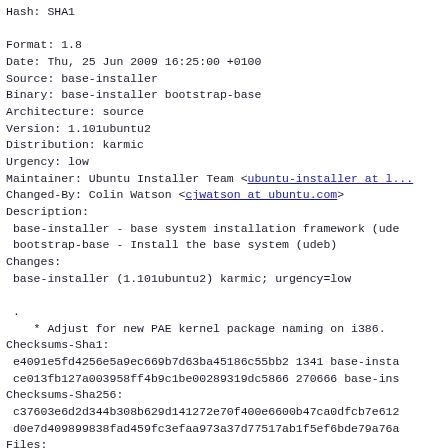Hash: SHA1

Format: 1.8
Date: Thu, 25 Jun 2009 16:25:00 +0100
Source: base-installer
Binary: base-installer bootstrap-base
Architecture: source
Version: 1.101ubuntu2
Distribution: karmic
Urgency: low
Maintainer: Ubuntu Installer Team <ubuntu-installer at l...>
Changed-By: Colin Watson <cjwatson at ubuntu.com>
Description:
 base-installer - base system installation framework (ude...
 bootstrap-base - Install the base system (udeb)
Changes:
 base-installer (1.101ubuntu2) karmic; urgency=low

 .
    * Adjust for new PAE kernel package naming on i386.
Checksums-Sha1:
 e4091e5fd4256e5a9ec669b7d63ba45186c55bb2 1341 base-insta...
 ce013fb127a003958ff4b9c1be00289319dc5866 270666 base-ins...
Checksums-Sha256:
 c37603e6d2d344b308b629d141272e70f400e6600b47ca0dfcb7e612...
 d0e7d409899838fad459fc3efaa973a37d77517ab1f5ef6bde79a76a...
Files:
 4e261472f61bb403f8660d5a31f15ede 1341 debian-installer n...
 b76767a470d3692ac46ddf0439fed994 270666 debian-installer...
Original-Maintainer: Debian Install System Team <debian-b...>

    BEGIN PGP SIGNATURE